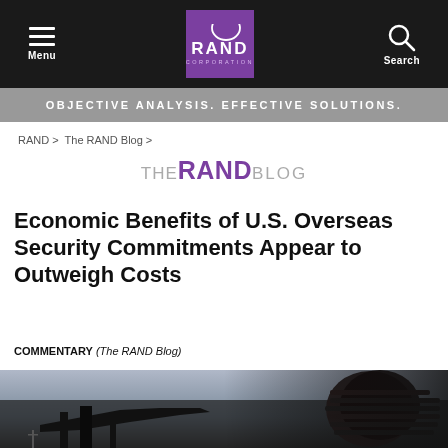Menu | RAND CORPORATION | Search
OBJECTIVE ANALYSIS. EFFECTIVE SOLUTIONS.
RAND > The RAND Blog >
THE RAND BLOG
Economic Benefits of U.S. Overseas Security Commitments Appear to Outweigh Costs
COMMENTARY (The RAND Blog)
[Figure (photo): Photograph of military aircraft silhouetted against a dusky sky, with what appears to be an engine or fuselage detail in the foreground right.]